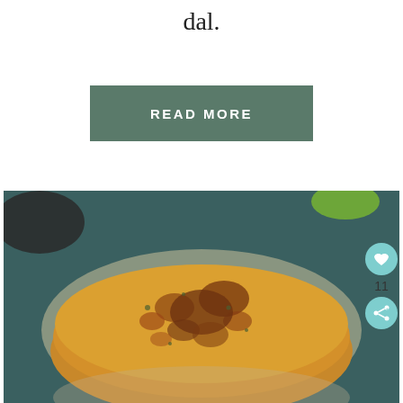dal.
READ MORE
[Figure (photo): Stack of golden-brown Indian flatbreads (dal cheela/chilla) on a glass plate, showing charred spots, on a dark teal surface with a green item visible in background.]
11